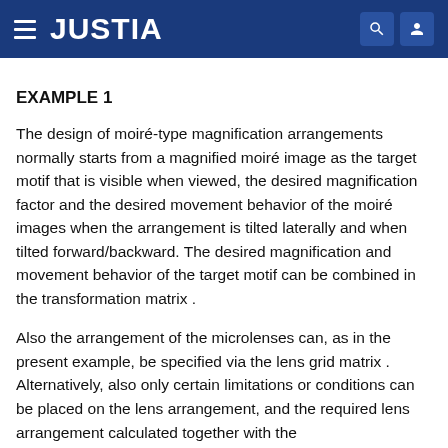JUSTIA
EXAMPLE 1
The design of moiré-type magnification arrangements normally starts from a magnified moiré image as the target motif that is visible when viewed, the desired magnification factor and the desired movement behavior of the moiré images when the arrangement is tilted laterally and when tilted forward/backward. The desired magnification and movement behavior of the target motif can be combined in the transformation matrix .
Also the arrangement of the microlenses can, as in the present example, be specified via the lens grid matrix . Alternatively, also only certain limitations or conditions can be placed on the lens arrangement, and the required lens arrangement calculated together with the